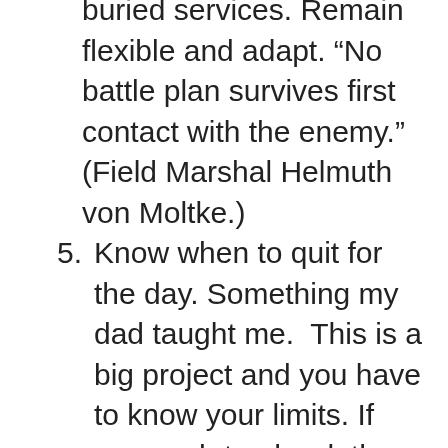buried services. Remain flexible and adapt. “No battle plan survives first contact with the enemy.” (Field Marshal Helmuth von Moltke.)
5. Know when to quit for the day. Something my dad taught me.  This is a big project and you have to know your limits. If you push too hard, then quality